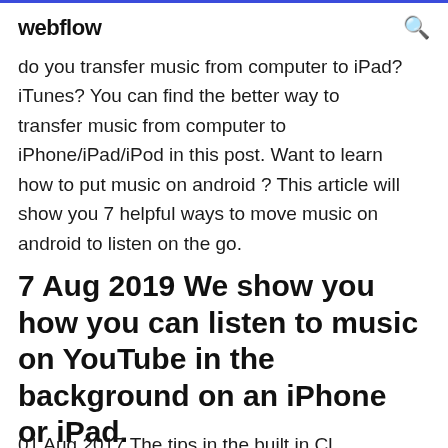webflow
do you transfer music from computer to iPad? iTunes? You can find the better way to transfer music from computer to iPhone/iPad/iPod in this post. Want to learn how to put music on android ? This article will show you 7 helpful ways to move music on android to listen on the go.
7 Aug 2019 We show you how you can listen to music on YouTube in the background on an iPhone or iPad.
01 Aug 2017 The tips in the built in Cl...